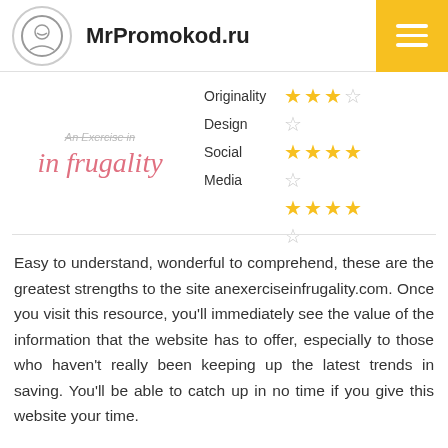MrPromokod.ru
[Figure (logo): An Exercise in Frugality website logo with script text 'in frugality']
Originality ★★★☆ Design ☆ Social Media ★★★★ ★★★★ ☆
Easy to understand, wonderful to comprehend, these are the greatest strengths to the site anexerciseinfrugality.com. Once you visit this resource, you'll immediately see the value of the information that the website has to offer, especially to those who haven't really been keeping up the latest trends in saving. You'll be able to catch up in no time if you give this website your time.